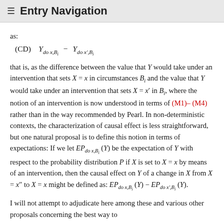≡ Entry Navigation
as:
that is, as the difference between the value that Y would take under an intervention that sets X = x in circumstances B_i and the value that Y would take under an intervention that sets X = x' in B_i, where the notion of an intervention is now understood in terms of (M1)–(M4) rather than in the way recommended by Pearl. In non-deterministic contexts, the characterization of causal effect is less straightforward, but one natural proposal is to define this notion in terms of expectations: If we let EP_{do x,B_i}(Y) be the expectation of Y with respect to the probability distribution P if X is set to X = x by means of an intervention, then the causal effect on Y of a change in X from X = x'' to X = x might be defined as: EP_{do x,B_i}(Y) − EP_{do x',B_i}(Y).
I will not attempt to adjudicate here among these and various other proposals concerning the best way to